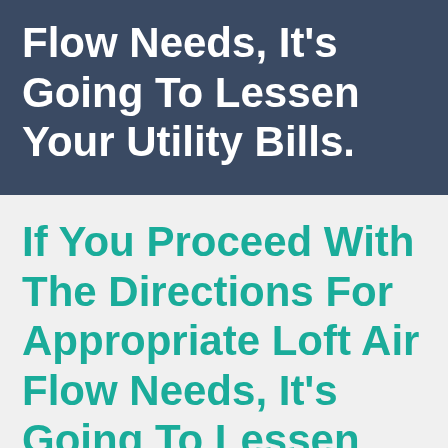Flow Needs, It's Going To Lessen Your Utility Bills.
If You Proceed With The Directions For Appropriate Loft Air Flow Needs, It's Going To Lessen Your Utility